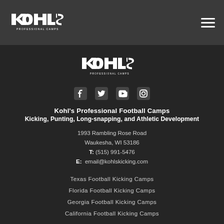Kohl's Professional Camps
[Figure (logo): Kohl's Professional Camps logo centered on dark background]
[Figure (infographic): Social media icons: Facebook, Twitter, YouTube, Instagram]
Kohl's Professional Football Camps
Kicking, Punting, Long-snapping, and Athletic Development
1993 Rambling Rose Road
Waukesha, WI 53186
T: (515) 991-5476
E: email@kohlskicking.com
Texas Football Kicking Camps
Florida Football Kicking Camps
Georgia Football Kicking Camps
California Football Kicking Camps